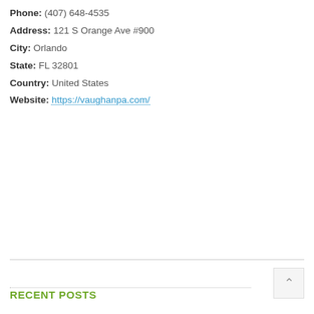Phone: (407) 648-4535
Address: 121 S Orange Ave #900
City: Orlando
State: FL 32801
Country: United States
Website: https://vaughanpa.com/
RECENT POSTS